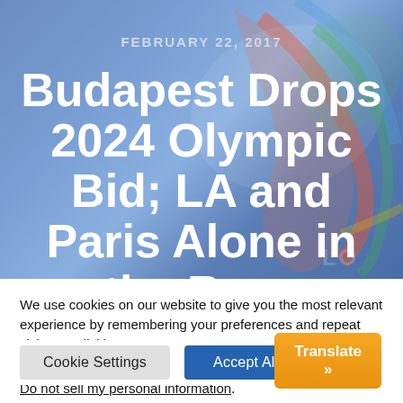[Figure (photo): Hero image with blue/purple gradient background featuring colorful Olympic bid logo shapes, overlaid with article date and headline text]
FEBRUARY 22, 2017
Budapest Drops 2024 Olympic Bid; LA and Paris Alone in the Race
We use cookies on our website to give you the most relevant experience by remembering your preferences and repeat visits. By clicking “Accept”, you consent to the use of ALL the cookies.
Do not sell my personal information.
Cookie Settings
Accept All
Translate »